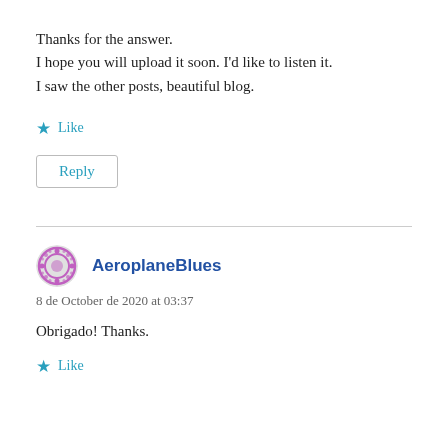Thanks for the answer.
I hope you will upload it soon. I'd like to listen it.
I saw the other posts, beautiful blog.
★ Like
Reply
AeroplaneBlues
8 de October de 2020 at 03:37
Obrigado! Thanks.
★ Like